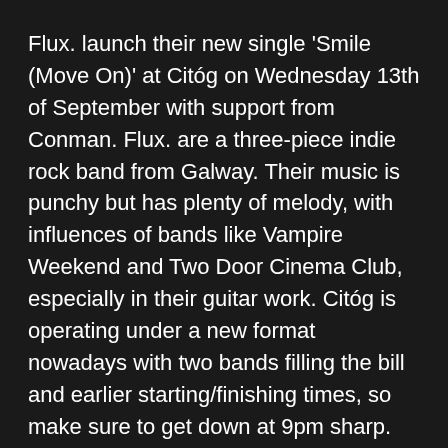Flux. launch their new single 'Smile (Move On)' at Citóg on Wednesday 13th of September with support from Conman. Flux. are a three-piece indie rock band from Galway. Their music is punchy but has plenty of melody, with influences of bands like Vampire Weekend and Two Door Cinema Club, especially in their guitar work. Citóg is operating under a new format nowadays with two bands filling the bill and earlier starting/finishing times, so make sure to get down at 9pm sharp.
Words by Flux.
After a heated debate between all three of us in the band over whether Limerick qualified as the